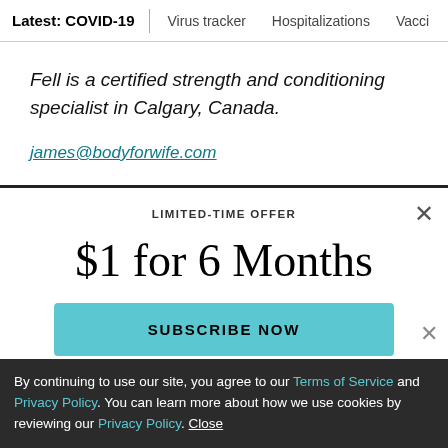Latest: COVID-19 | Virus tracker | Hospitalizations | Vacci
Fell is a certified strength and conditioning specialist in Calgary, Canada.
james@bodyforwife.com
LIMITED-TIME OFFER
$1 for 6 Months
SUBSCRIBE NOW
By continuing to use our site, you agree to our Terms of Service and Privacy Policy. You can learn more about how we use cookies by reviewing our Privacy Policy. Close